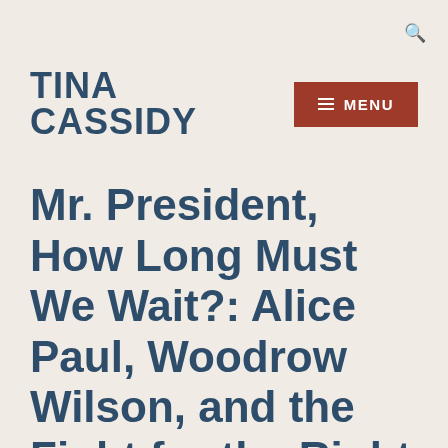TINA CASSIDY
Mr. President, How Long Must We Wait?: Alice Paul, Woodrow Wilson, and the Fight for the Right to Vote